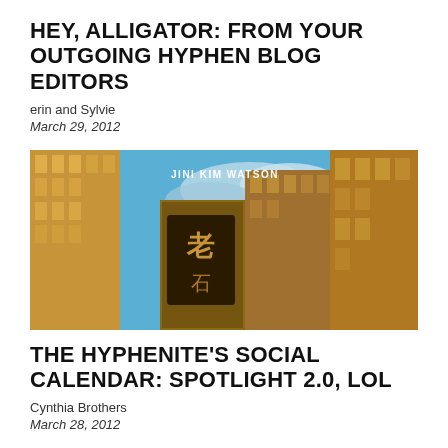HEY, ALLIGATOR: FROM YOUR OUTGOING HYPHEN BLOG EDITORS
erin and Sylvie
March 29, 2012
[Figure (photo): Urban street-level photo looking up at buildings with Chinese signage and a blue sky, with text 'JINI KIM WATSON' overlaid near the top center]
THE HYPHENITE'S SOCIAL CALENDAR: SPOTLIGHT 2.0, LOL
Cynthia Brothers
March 28, 2012